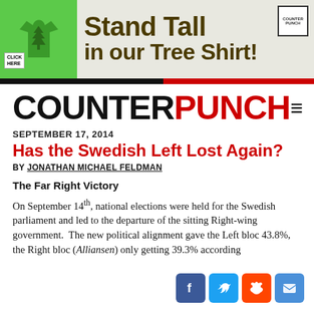[Figure (illustration): Advertisement banner with green t-shirt graphic and text 'Stand Tall in our Tree Shirt!' on gray background with 'CLICK HERE' label.]
COUNTERPUNCH
SEPTEMBER 17, 2014
Has the Swedish Left Lost Again?
BY JONATHAN MICHAEL FELDMAN
The Far Right Victory
On September 14th, national elections were held for the Swedish parliament and led to the departure of the sitting Right-wing government. The new political alignment gave the Left bloc 43.8%, the Right bloc (Alliansen) only getting 39.3% according
[Figure (infographic): Social sharing icons: Facebook, Twitter, Reddit, Email]